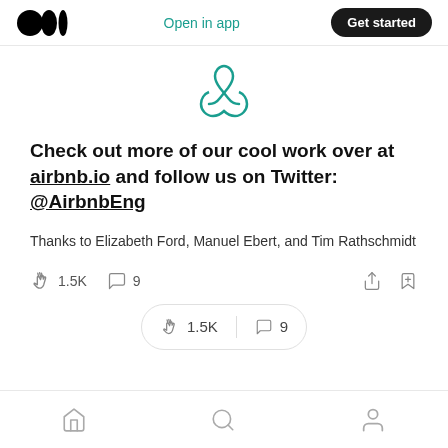Medium logo | Open in app | Get started
[Figure (logo): Airbnb logo in teal/mint color, centered at top of content]
Check out more of our cool work over at airbnb.io and follow us on Twitter: @AirbnbEng
Thanks to Elizabeth Ford, Manuel Ebert, and Tim Rathschmidt
1.5K claps, 9 comments, share, bookmark icons
1.5K claps | 9 comments (floating pill)
Home, Search, Profile navigation icons